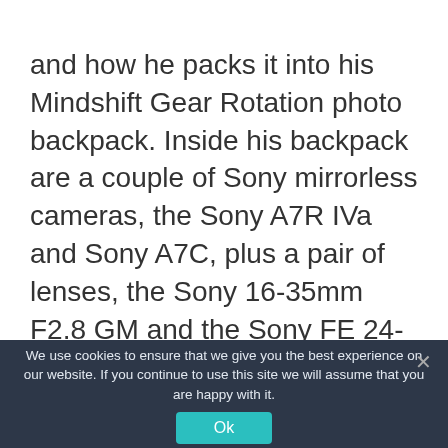and how he packs it into his Mindshift Gear Rotation photo backpack. Inside his backpack are a couple of Sony mirrorless cameras, the Sony A7R IVa and Sony A7C, plus a pair of lenses, the Sony 16-35mm F2.8 GM and the Sony FE 24-105mm F4 G OSS. In addition to the ever-important camera and lens gear, Thapa has a Leofoto LS-255CEX Ranger Series carbon fiber tripod, which includes a built-in 15-degree leveling base, plus filters, an iPad Pro, a headlamp, shotgun mic and rain cover.
We use cookies to ensure that we give you the best experience on our website. If you continue to use this site we will assume that you are happy with it.